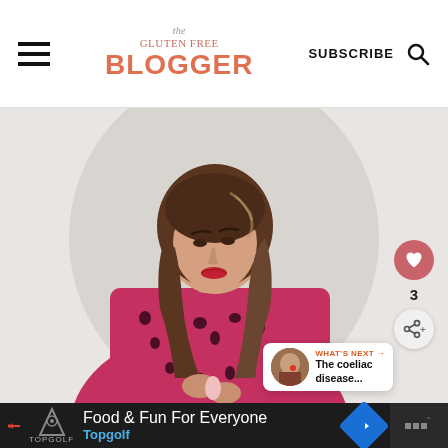THE GLUTEN FREE BLOGGER — SUBSCRIBE
[Figure (photo): A woman with long wavy brown hair, wearing a pink and black patterned blouse, looking down and working with something in her hands. She is set against an oval/arch shaped light grey background.]
3
WHAT'S NEXT → The coeliac disease...
Food & Fun For Everyone
Topgolf